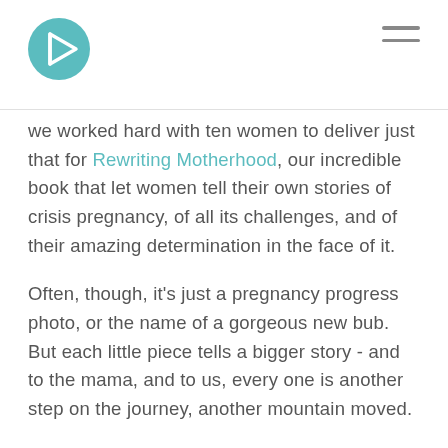[Figure (logo): Teal circular logo with a stylized 'B' arrow icon]
we worked hard with ten women to deliver just that for Rewriting Motherhood, our incredible book that let women tell their own stories of crisis pregnancy, of all its challenges, and of their amazing determination in the face of it.
Often, though, it's just a pregnancy progress photo, or the name of a gorgeous new bub. But each little piece tells a bigger story - and to the mama, and to us, every one is another step on the journey, another mountain moved.
And of course, there's the story that started it all.